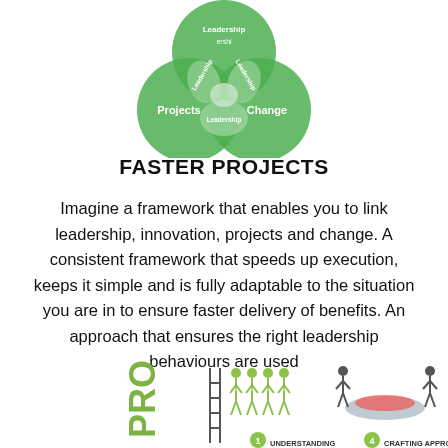[Figure (infographic): Venn diagram with three overlapping green circles labeled 'Projects', 'Change', and a top circle, with 'Leadership' text in the overlapping sections]
FASTER PROJECTS
Imagine a framework that enables you to link leadership, innovation, projects and change. A consistent framework that speeds up execution, keeps it simple and is fully adaptable to the situation you are in to ensure faster delivery of benefits. An approach that ensures the right leadership behaviours are used
[Figure (infographic): Bottom infographic showing 'PRO' text vertically, people figures with step 1 UNDERSTANDING and step 4 CRAFTING APPROACH]